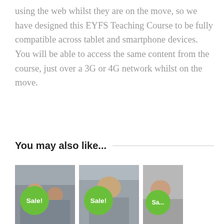using the web whilst they are on the move, so we have designed this EYFS Teaching Course to be fully compatible across tablet and smartphone devices. You will be able to access the same content from the course, just over a 3G or 4G network whilst on the move.
You may also like...
[Figure (photo): Three thumbnail images of children and teachers in educational settings, each with a green 'Sale!' badge overlaid.]